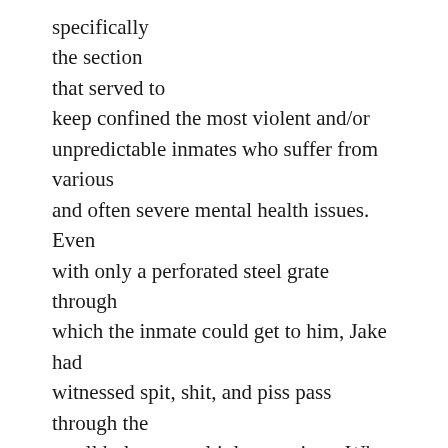specifically the section that served to keep confined the most violent and/or unpredictable inmates who suffer from various and often severe mental health issues. Even with only a perforated steel grate through which the inmate could get to him, Jake had witnessed spit, shit, and piss pass through the small holes on multiple occasions. When the chuckhole was open, a deluge of waste and refuse could pour out. Yet even armed with this knowledge, Jake continued to advance upon the door from behind which someone was calling his name.